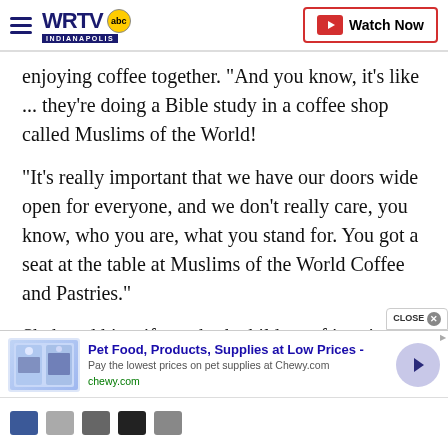WRTV INDIANAPOLIS | Watch Now
enjoying coffee together. "And you know, it's like ... they're doing a Bible study in a coffee shop called Muslims of the World!
"It's really important that we have our doors wide open for everyone, and we don't really care, you know, who you are, what you stand for. You got a seat at the table at Muslims of the World Coffee and Pastries."
Shah and his wife are both children of immigrants
[Figure (screenshot): Advertisement banner: Pet Food, Products, Supplies at Low Prices - Chewy.com with product images and forward arrow button]